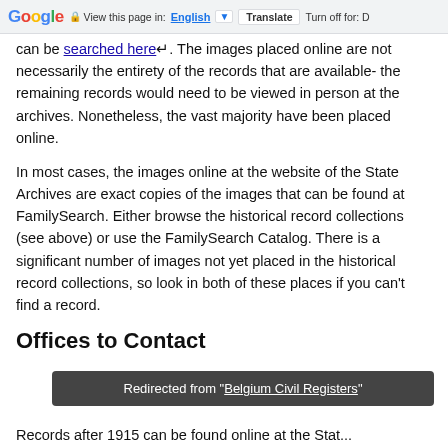Google | View this page in: English [▼] Translate | Turn off for: D
can be searched here. The images placed online are not necessarily the entirety of the records that are available- the remaining records would need to be viewed in person at the archives. Nonetheless, the vast majority have been placed online.
In most cases, the images online at the website of the State Archives are exact copies of the images that can be found at FamilySearch. Either browse the historical record collections (see above) or use the FamilySearch Catalog. There is a significant number of images not yet placed in the historical record collections, so look in both of these places if you can't find a record.
Offices to Contact
Redirected from "Belgium Civil Registers"
Records after 1915 can be found online at the Stat...